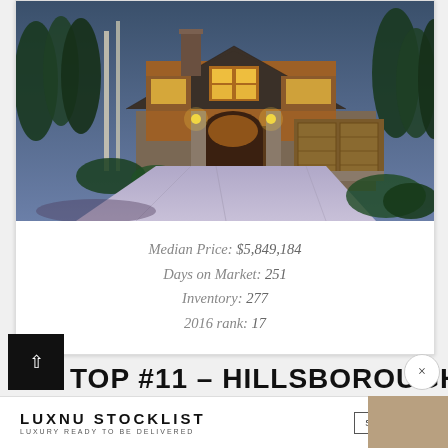[Figure (photo): Luxury craftsman-style home photographed at dusk, with warm glowing interior lights, stone accents, wood garage doors, and surrounded by tall evergreen and birch trees. Wide concrete driveway in foreground.]
Median Price: $5,849,184
Days on Market: 251
Inventory: 277
2016 rank: 17
TOP #11 – HILLSBOROUGH, CA
[Figure (logo): LUXNU STOCKLIST logo — LUXURY READY TO BE DELIVERED, with a SHOP NOW button and a product thumbnail image on the right]